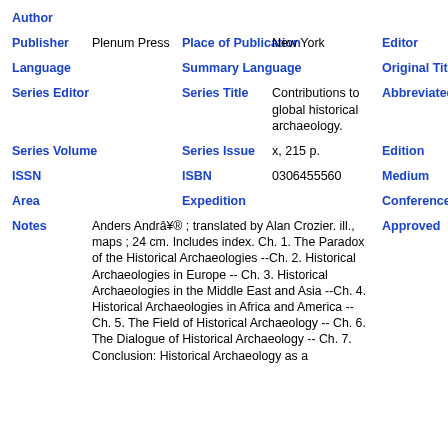| Label | Value | Label | Value | Label |
| --- | --- | --- | --- | --- |
| Author |  |  |  |  |
| Publisher | Plenum Press | Place of Publication | New York | Editor |
| Language |  | Summary Language |  | Original Title |
| Series Editor |  | Series Title | Contributions to global historical archaeology. | Abbreviated Series Title |
| Series Volume |  | Series Issue | x, 215 p. | Edition |
| ISSN |  | ISBN | 0306455560 | Medium |
| Area |  | Expedition |  | Conference |
| Notes | Anders Andrâ¥® ; translated by Alan Crozier. ill., maps ; 24 cm. Includes index. Ch. 1. The Paradox of the Historical Archaeologies --Ch. 2. Historical Archaeologies in Europe -- Ch. 3. Historical Archaeologies in the Middle East and Asia --Ch. 4. Historical Archaeologies in Africa and America -- Ch. 5. The Field of Historical Archaeology -- Ch. 6. The Dialogue of Historical Archaeology -- Ch. 7. Conclusion: Historical Archaeology as a | Approved |  |  |